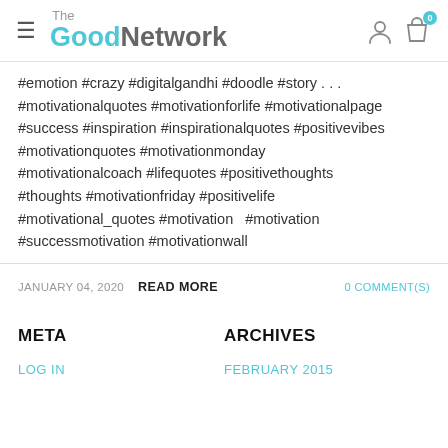The GoodNetwork
#emotion #crazy #digitalgandhi #doodle #story . . . #motivationalquotes #motivationforlife #motivationalpage #success #inspiration #inspirationalquotes #positivevibes #motivationquotes #motivationmonday #motivationalcoach #lifequotes #positivethoughts #thoughts #motivationfriday #positivelife #motivational_quotes #motivation   #motivation #successmotivation #motivationwall
JANUARY 04, 2020  READ MORE  0 COMMENT(S)
META
ARCHIVES
LOG IN
FEBRUARY 2015